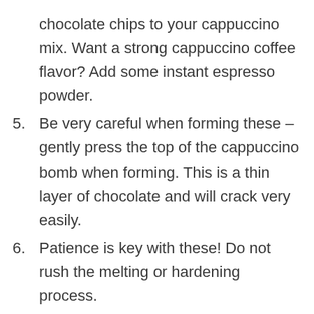(continuation) chocolate chips to your cappuccino mix. Want a strong cappuccino coffee flavor? Add some instant espresso powder.
5. Be very careful when forming these – gently press the top of the cappuccino bomb when forming. This is a thin layer of chocolate and will crack very easily.
6. Patience is key with these! Do not rush the melting or hardening process.
7. Any spherical mold will work, but I